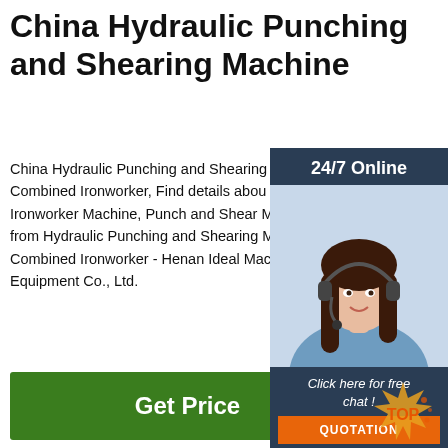China Hydraulic Punching and Shearing Machine
China Hydraulic Punching and Shearing Machine Combined Ironworker, Find details about Ironworker Machine, Punch and Shear Machine from Hydraulic Punching and Shearing Machine Combined Ironworker - Henan Ideal Mac Equipment Co., Ltd.
[Figure (other): Green 'Get Price' button]
[Figure (other): 24/7 Online chat widget with female customer service representative wearing headset, blue background, with 'Click here for free chat!' text and orange QUOTATION button]
[Figure (photo): Large metal coil rolls of sheet steel stacked on industrial floor]
[Figure (logo): Orange and gold TOP badge logo in bottom right corner]